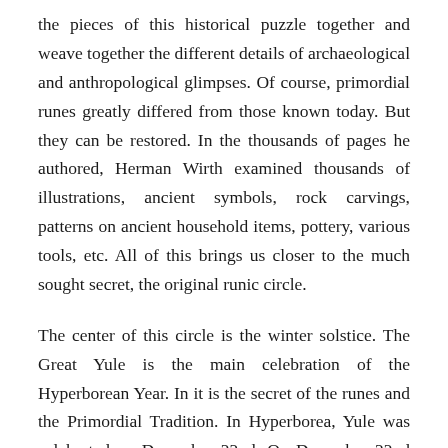the pieces of this historical puzzle together and weave together the different details of archaeological and anthropological glimpses. Of course, primordial runes greatly differed from those known today. But they can be restored. In the thousands of pages he authored, Herman Wirth examined thousands of illustrations, ancient symbols, rock carvings, patterns on ancient household items, pottery, various tools, etc. All of this brings us closer to the much sought secret, the original runic circle.
The center of this circle is the winter solstice. The Great Yule is the main celebration of the Hyperborean Year. In it is the secret of the runes and the Primordial Tradition. In Hyperborea, Yule was celebrated on December 22nd. On December 22nd every year, the true New Year arrived, the moment of the birth of the runes, the moment of the